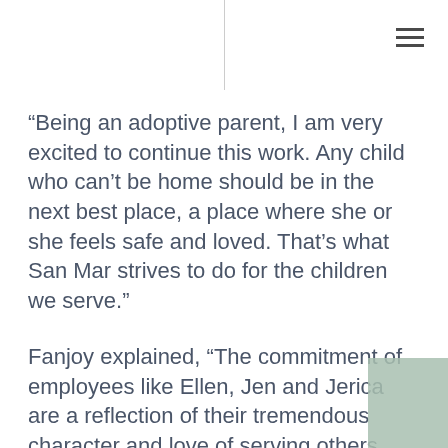“Being an adoptive parent, I am very excited to continue this work. Any child who can’t be home should be in the next best place, a place where she or she feels safe and loved. That’s what San Mar strives to do for the children we serve.”
Fanjoy explained, “The commitment of employees like Ellen, Jen and Jerica are a reflection of their tremendous character and love of serving others and I am proud to work alongside them as partners. Often times in the non-profit world there are long